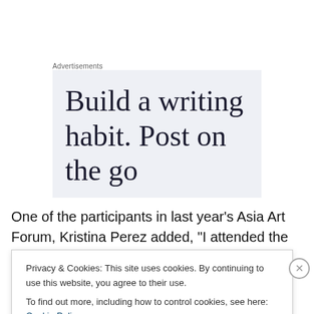Advertisements
[Figure (other): Advertisement banner with light blue background showing text 'Build a writing habit. Post on the go']
One of the participants in last year’s Asia Art Forum, Kristina Perez added, “I attended the Asia Art Forum’s
Privacy & Cookies: This site uses cookies. By continuing to use this website, you agree to their use.
To find out more, including how to control cookies, see here: Cookie Policy
Close and accept